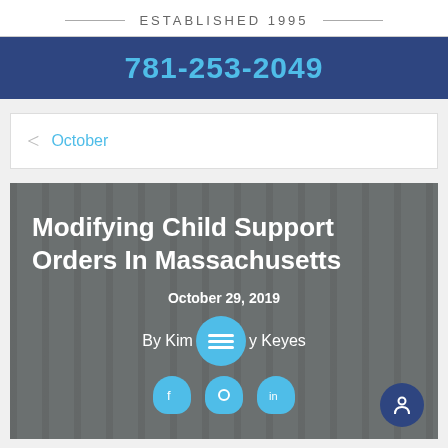ESTABLISHED 1995
781-253-2049
< October
Modifying Child Support Orders In Massachusetts
October 29, 2019
By Kimberly Keyes